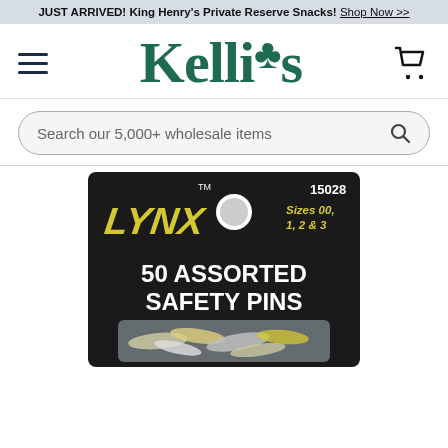JUST ARRIVED! King Henry's Private Reserve Snacks! Shop Now >>
[Figure (logo): Kelli's logo with shamrock, hamburger menu icon on left, shopping cart icon on right]
Search our 5,000+ wholesale items
[Figure (photo): LYNX brand product package: 50 Assorted Safety Pins, Sizes 00, 1, 2 & 3, item number 15028, black packaging with yellow LYNX logo and white text, safety pins visible in clear plastic blister]